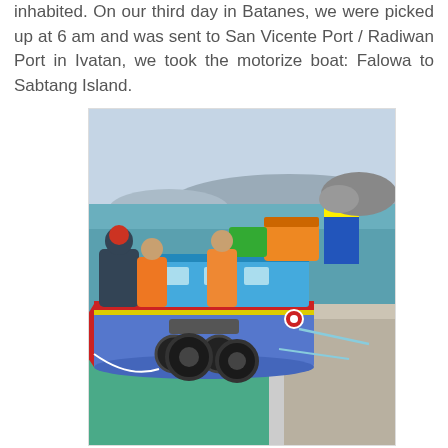inhabited. On our third day in Batanes, we were picked up at 6 am and was sent to San Vicente Port / Radiwan Port in Ivatan, we took the motorize boat: Falowa to Sabtang Island.
[Figure (photo): A colorful motorized boat (Falowa) docked at a port. The boat has a blue hull with red and yellow stripes. Several people in orange life vests are on board. The boat is loaded with cargo including orange bags. A black tire hangs from the side as a bumper. A rope lines connect to the concrete dock. The water is teal-green and there are rocky breakwaters in the background under a grey sky.]